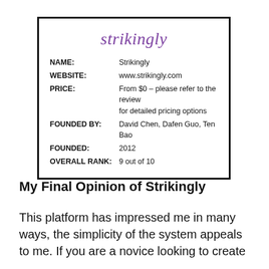[Figure (other): Info card with Strikingly logo (purple italic text) and product details table]
My Final Opinion of Strikingly
This platform has impressed me in many ways, the simplicity of the system appeals to me. If you are a novice looking to create